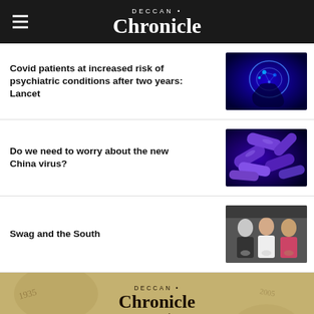DECCAN Chronicle
Covid patients at increased risk of psychiatric conditions after two years: Lancet
[Figure (photo): Glowing blue digital brain illustration]
Do we need to worry about the new China virus?
[Figure (photo): Close-up of purple/blue bacteria rods]
Swag and the South
[Figure (photo): Three men in formal attire at an event]
[Figure (photo): Deccan Chronicle epaper Archives advertisement banner with text: DECCAN Chronicle epaper Archives now available from 1938]